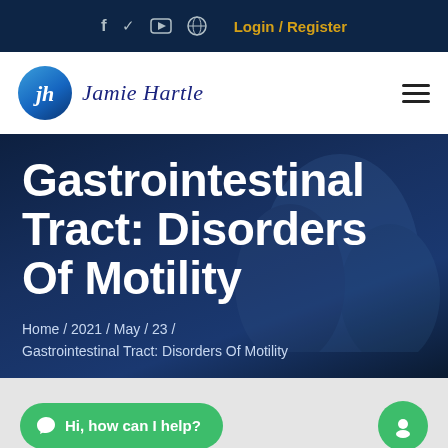f  twitter  YouTube  globe  Login / Register
[Figure (logo): Jamie Hartle logo with circular blue gradient icon and cursive text name, plus hamburger menu icon on the right]
Gastrointestinal Tract: Disorders Of Motility
Home / 2021 / May / 23 /
Gastrointestinal Tract: Disorders Of Motility
Hi, how can I help?